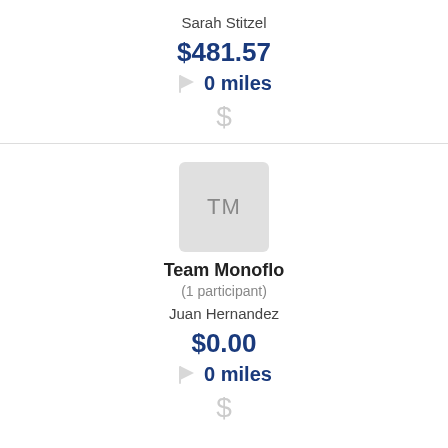Sarah Stitzel
$481.57
0 miles
$
[Figure (other): TM avatar initials placeholder]
Team Monoflo
(1 participant)
Juan Hernandez
$0.00
0 miles
$